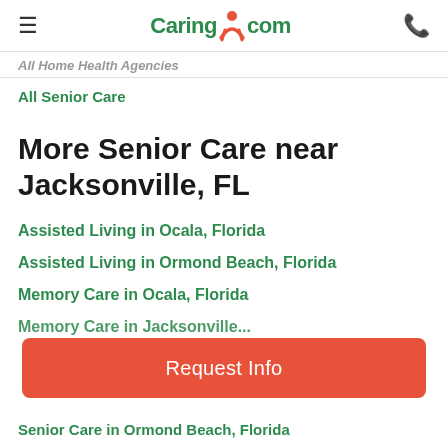Caring.com
All Home Health Agencies
All Senior Care
More Senior Care near Jacksonville, FL
Assisted Living in Ocala, Florida
Assisted Living in Ormond Beach, Florida
Memory Care in Ocala, Florida
Request Info
Senior Care in Ormond Beach, Florida